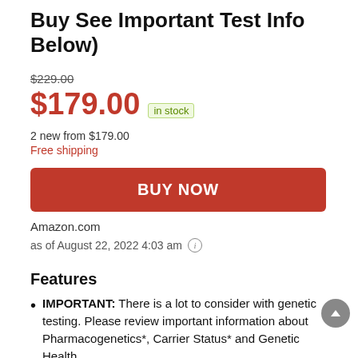Buy See Important Test Info Below)
$229.00
$179.00 in stock
2 new from $179.00
Free shipping
BUY NOW
Amazon.com
as of August 22, 2022 4:03 am
Features
IMPORTANT: There is a lot to consider with genetic testing. Please review important information about Pharmacogenetics*, Carrier Status* and Genetic Health